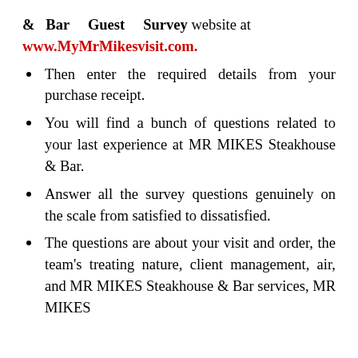& Bar Guest Survey website at www.MyMrMikesvisit.com.
Then enter the required details from your purchase receipt.
You will find a bunch of questions related to your last experience at MR MIKES Steakhouse & Bar.
Answer all the survey questions genuinely on the scale from satisfied to dissatisfied.
The questions are about your visit and order, the team's treating nature, client management, air, and MR MIKES Steakhouse & Bar services, MR MIKES